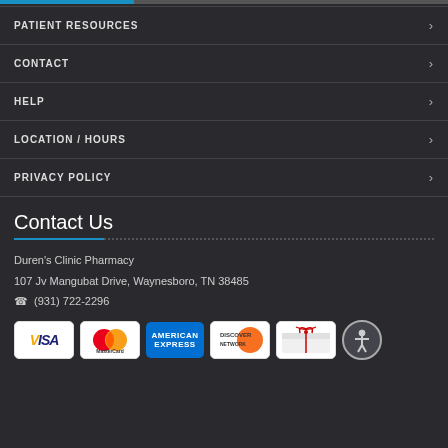PATIENT RESOURCES
CONTACT
HELP
LOCATION / HOURS
PRIVACY POLICY
Contact Us
Duren's Clinic Pharmacy
107 Jv Mangubat Drive, Waynesboro, TN 38485
☎ (931) 722-2296
[Figure (other): Payment method logos: VISA, MasterCard, American Express, Discover Network, Gift card, and an accessibility icon]